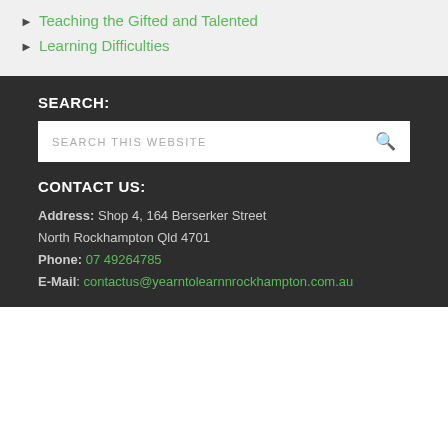Teaching the Gifted and Talented
Learning Difficulties
SEARCH:
SEARCH THIS WEBSITE
CONTACT US:
Address: Shop 4, 164 Berserker Street North Rockhampton Qld 4701
Phone: 07 49264785
E-Mail: contactus@yearntolearnnrockhampton.com.au